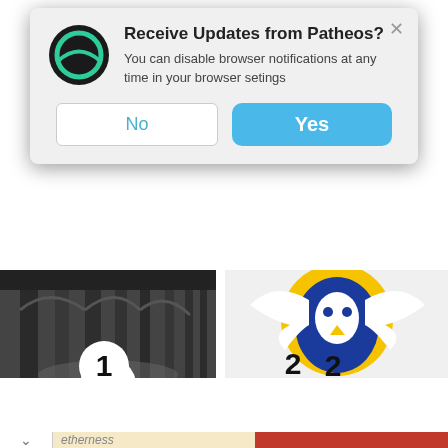[Figure (screenshot): Modal notification dialog: Patheos logo, 'Receive Updates from Patheos?', 'You can disable browser notifications at any time in your browser setings', No and Yes buttons]
[Figure (photo): Black and white photo of church interior with columns, rank number 1]
[Figure (photo): Blue and gold lion/eagle logo on white, rank number 2]
Why Church Won't Change
BECOMING FAITHFUL QUESTIONERS AND SOCIAL POETS
8/15 Flashback: Fashists
SLACKTIVIST
[Figure (screenshot): Bottom strip with chevron and etherness text on tan background]
[Figure (screenshot): Ad banner: grace notes, The Story Behind the Music, watch free, BYU tv]